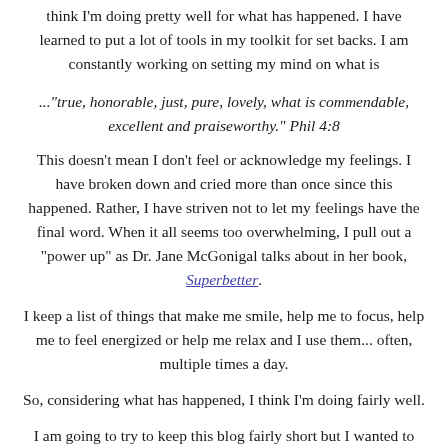think I'm doing pretty well for what has happened. I have learned to put a lot of tools in my toolkit for set backs. I am constantly working on setting my mind on what is
..."true, honorable, just, pure, lovely, what is commendable, excellent and praiseworthy." Phil 4:8
This doesn't mean I don't feel or acknowledge my feelings. I have broken down and cried more than once since this happened. Rather, I have striven not to let my feelings have the final word. When it all seems too overwhelming, I pull out a "power up" as Dr. Jane McGonigal talks about in her book, Superbetter.
I keep a list of things that make me smile, help me to focus, help me to feel energized or help me relax and I use them... often, multiple times a day.
So, considering what has happened, I think I'm doing fairly well.
I am going to try to keep this blog fairly short but I wanted to answer another question that I have gotten: